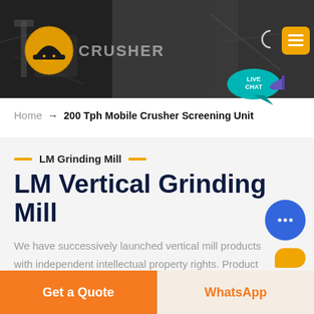[Figure (screenshot): Website header banner with dark mining/crusher background image, orange logo with hard-hat icon on left, 'CRUSHER' text, moon icon and orange menu button on right]
Home → 200 Tph Mobile Crusher Screening Unit
LM Grinding Mill
LM Vertical Grinding Mill
We have successively launched vertical mill products with independent intellectual property rights. Product Features: Integration of multiple functions, more stable and reliable production and more excellent capacity